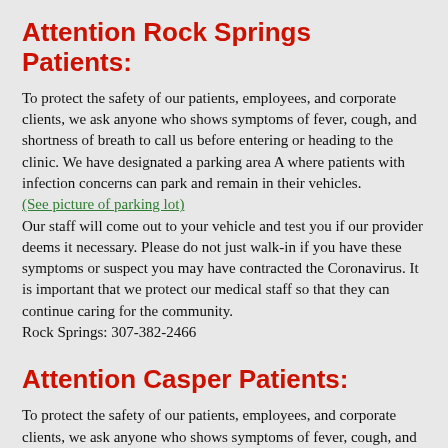Attention Rock Springs Patients:
To protect the safety of our patients, employees, and corporate clients, we ask anyone who shows symptoms of fever, cough, and shortness of breath to call us before entering or heading to the clinic. We have designated a parking area A where patients with infection concerns can park and remain in their vehicles.
(See picture of parking lot)
Our staff will come out to your vehicle and test you if our provider deems it necessary. Please do not just walk-in if you have these symptoms or suspect you may have contracted the Coronavirus. It is important that we protect our medical staff so that they can continue caring for the community.
Rock Springs: 307-382-2466
Attention Casper Patients:
To protect the safety of our patients, employees, and corporate clients, we ask anyone who shows symptoms of fever, cough, and shortness of breath to call us before entering or heading to the clinic. We have drive through clinic where patients with infection concerns can drive to and remain in their vehicles.
Our staff will come out to your vehicle and test you if our provider